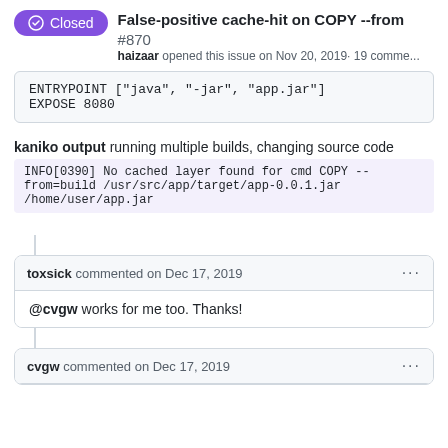False-positive cache-hit on COPY --from #870
haizaar opened this issue on Nov 20, 2019 · 19 comme...
ENTRYPOINT ["java", "-jar", "app.jar"]
EXPOSE 8080
kaniko output running multiple builds, changing source code
INFO[0390] No cached layer found for cmd COPY --from=build /usr/src/app/target/app-0.0.1.jar /home/user/app.jar
toxsick commented on Dec 17, 2019
@cvgw works for me too. Thanks!
cvgw commented on Dec 17, 2019